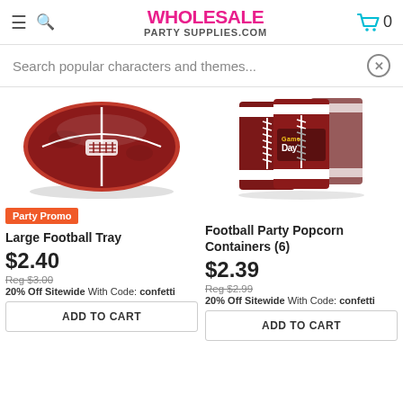WHOLESALE PARTY SUPPLIES.COM
Search popular characters and themes...
[Figure (photo): Large football tray product image - brown football-shaped serving tray with white laces]
Party Promo
Large Football Tray
$2.40
Reg $3.00
20% Off Sitewide With Code: confetti
ADD TO CART
[Figure (photo): Football Party Popcorn Containers (6) - dark red popcorn containers with football lace design and Game Day text]
Football Party Popcorn Containers (6)
$2.39
Reg $2.99
20% Off Sitewide With Code: confetti
ADD TO CART